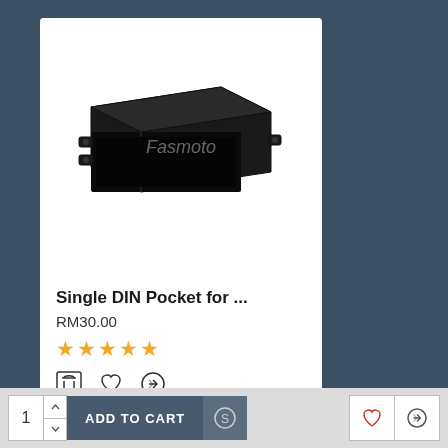[Figure (photo): Black single DIN pocket/bracket product photo on white background with Fasmoto watermark]
Single DIN Pocket for ...
RM30.00
★★★★★ (5 stars rating)
My Account
Login